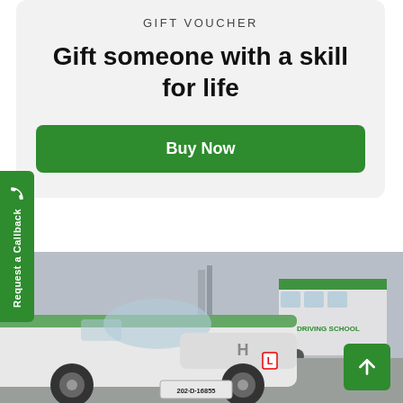GIFT VOUCHER
Gift someone with a skill for life
Buy Now
Request a Callback
[Figure (photo): A white Hyundai driving school car with green trim (plate 202-D-16855) in the foreground, and a green driving school bus in the background, parked in a lot.]